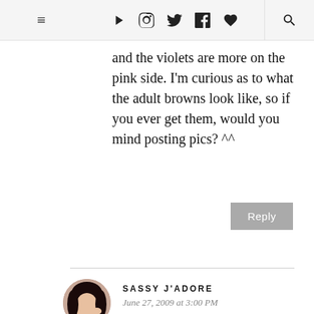☰ ▶ Instagram Twitter f ♥ 🔍
and the violets are more on the pink side. I'm curious as to what the adult browns look like, so if you ever get them, would you mind posting pics? ^^
Reply
SASSY J'ADORE
June 27, 2009 at 3:00 PM
Girl, you look so gorgeous and I luv that color lenses. I might want to order a pair myself. =)